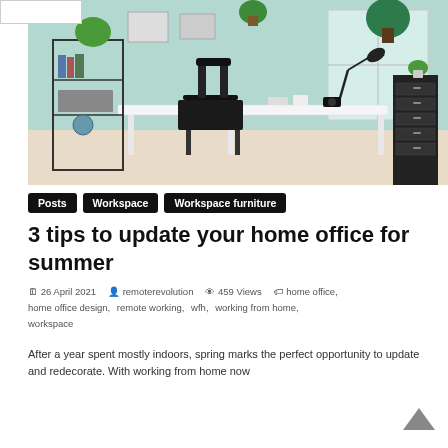[Figure (photo): Home office with mint green walls, white desk, black chair, bookshelves with plants, black filing cabinet, and desk lamp by a window]
Posts
Workspace
Workspace furniture
3 tips to update your home office for summer
26 April 2021   remoterevolution   459 Views   home office, home office design, remote working, wfh, working from home, workspace
After a year spent mostly indoors, spring marks the perfect opportunity to update and redecorate. With working from home now